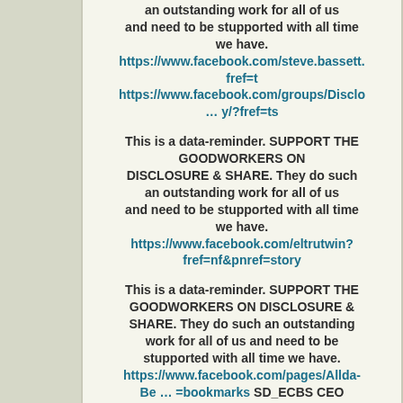an outstanding work for all of us and need to be stupported with all time we have. https://www.facebook.com/steve.bassett.fref=t https://www.facebook.com/groups/Disclo … y/?fref=ts
This is a data-reminder. SUPPORT THE GOODWORKERS ON DISCLOSURE & SHARE. They do such an outstanding work for all of us and need to be stupported with all time we have. https://www.facebook.com/eltrutwin?fref=nf&pnref=story
This is a data-reminder. SUPPORT THE GOODWORKERS ON DISCLOSURE & SHARE. They do such an outstanding work for all of us and need to be stupported with all time we have. https://www.facebook.com/pages/Allda-Be … =bookmarks SD_ECBS CEO Allda Ben Marius de Bruycker  WE ARE THE SD_ECBS 777 We work for this firm
SUPPORT US WITH DONATION ON OUR GOOGLES BLOG FOR PEOPLE WHO NEED PICTURES AND FUNNY